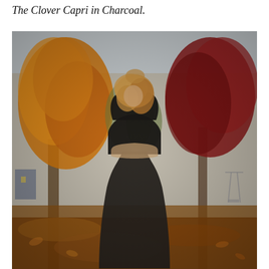The Clover Capri in Charcoal.
[Figure (photo): A woman with blonde wavy hair wearing a black sports bra crop top and dark charcoal capri leggings stands in a park with autumn foliage. Large orange and red-leafed trees are visible in the background. The ground is covered in fallen leaves. A swing set is visible in the far right background. The woman is looking down and to the side.]